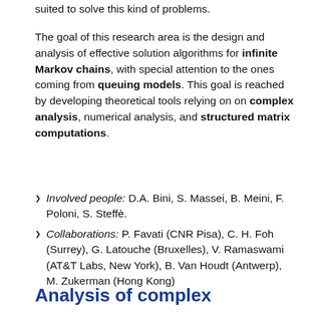suited to solve this kind of problems.
The goal of this research area is the design and analysis of effective solution algorithms for infinite Markov chains, with special attention to the ones coming from queuing models. This goal is reached by developing theoretical tools relying on on complex analysis, numerical analysis, and structured matrix computations.
Involved people: D.A. Bini, S. Massei, B. Meini, F. Poloni, S. Steffè.
Collaborations: P. Favati (CNR Pisa), C. H. Foh (Surrey), G. Latouche (Bruxelles), V. Ramaswami (AT&T Labs, New York), B. Van Houdt (Antwerp), M. Zukerman (Hong Kong)
Analysis of complex